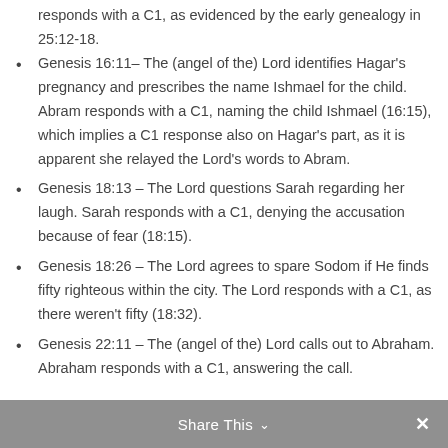responds with a C1, as evidenced by the early genealogy in 25:12-18.
Genesis 16:11– The (angel of the) Lord identifies Hagar's pregnancy and prescribes the name Ishmael for the child. Abram responds with a C1, naming the child Ishmael (16:15), which implies a C1 response also on Hagar's part, as it is apparent she relayed the Lord's words to Abram.
Genesis 18:13 – The Lord questions Sarah regarding her laugh. Sarah responds with a C1, denying the accusation because of fear (18:15).
Genesis 18:26 – The Lord agrees to spare Sodom if He finds fifty righteous within the city. The Lord responds with a C1, as there weren't fifty (18:32).
Genesis 22:11 – The (angel of the) Lord calls out to Abraham. Abraham responds with a C1, answering the call.
Share This ∨  ✕